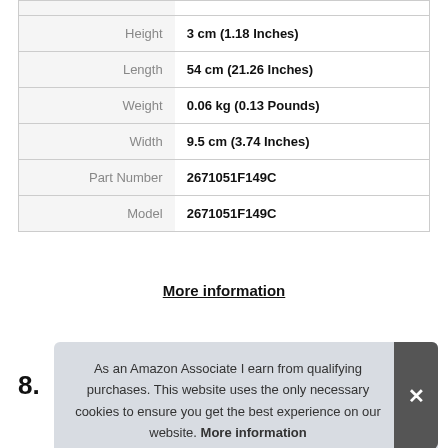| Attribute | Value |
| --- | --- |
| Height | 3 cm (1.18 Inches) |
| Length | 54 cm (21.26 Inches) |
| Weight | 0.06 kg (0.13 Pounds) |
| Width | 9.5 cm (3.74 Inches) |
| Part Number | 2671051F149C |
| Model | 2671051F149C |
More information
8.
As an Amazon Associate I earn from qualifying purchases. This website uses the only necessary cookies to ensure you get the best experience on our website. More information